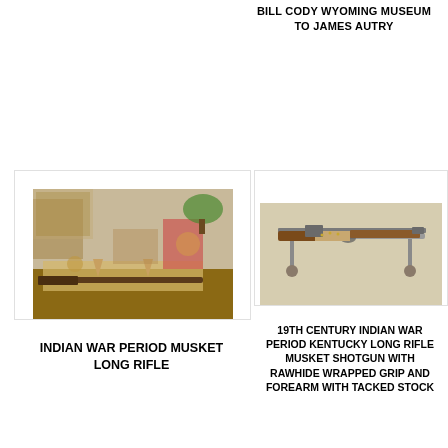BILL CODY WYOMING MUSEUM TO JAMES AUTRY
[Figure (photo): Indian War period musket long rifle displayed on a table among various antiques and collectibles in a cluttered shop setting.]
INDIAN WAR PERIOD MUSKET LONG RIFLE
[Figure (photo): 19th century Indian War period Kentucky long rifle musket shotgun with rawhide wrapped grip and forearm with tacked stock, displayed on a stand against a light background.]
19TH CENTURY INDIAN WAR PERIOD KENTUCKY LONG RIFLE MUSKET SHOTGUN WITH RAWHIDE WRAPPED GRIP AND FOREARM WITH TACKED STOCK